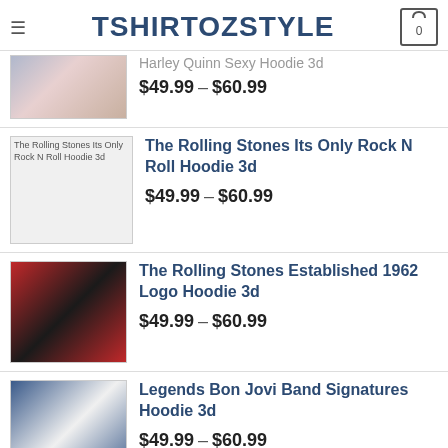TSHIRTOZSTYLE
Harley Quinn Sexy Hoodie 3d
$49.99 – $60.99
The Rolling Stones Its Only Rock N Roll Hoodie 3d
$49.99 – $60.99
The Rolling Stones Established 1962 Logo Hoodie 3d
$49.99 – $60.99
Legends Bon Jovi Band Signatures Hoodie 3d
$49.99 – $60.99
BEST SELLING
Brotherhood Bolt T-Shirt-TOZ